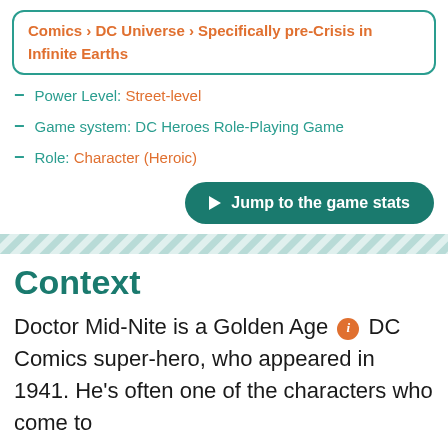Comics > DC Universe > Specifically pre-Crisis in Infinite Earths
Power Level: Street-level
Game system: DC Heroes Role-Playing Game
Role: Character (Heroic)
Jump to the game stats
Context
Doctor Mid-Nite is a Golden Age DC Comics super-hero, who appeared in 1941. He's often one of the characters who come to